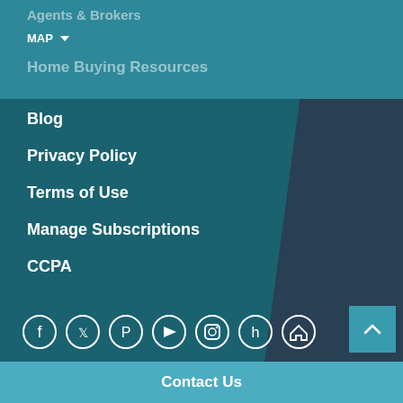Agents & Brokers
MAP ▼
Home Buying Resources
Blog
Privacy Policy
Terms of Use
Manage Subscriptions
CCPA
[Figure (infographic): Row of social media icons: Facebook, Twitter, Pinterest, YouTube, Instagram, Houzz, Equal Housing]
Copyright 2022, M/I Homes, Inc. All rights reserved. * Dream Big rate applies to new contracts written between August 17, 2022 and August 31, 2022 on homes that close by December 31, 2022. The interest rate is 3.875% with a 30-Year Conventional fixed rate mortgage and a 20% down payment. The ANNUAL PERCENTAGE RATE is 3.918%. Rate subject to change without notice. Offer not available in some situations or prior contracts. Borrower's name on the...
Contact Us